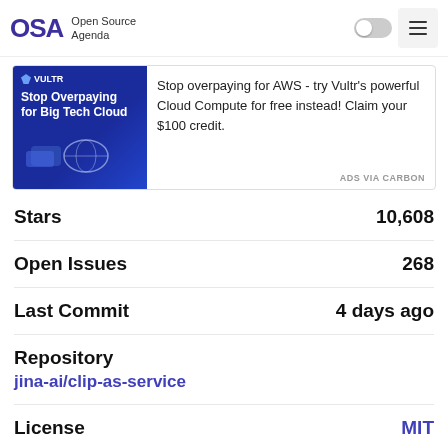OSA Open Source Agenda
[Figure (other): Advertisement banner for Vultr: 'Stop Overpaying for Big Tech Cloud' with text 'Stop overpaying for AWS - try Vultr's powerful Cloud Compute for free instead! Claim your $100 credit.' ADS VIA CARBON]
Stars 10,608
Open Issues 268
Last Commit 4 days ago
Repository jina-ai/clip-as-service
License MIT